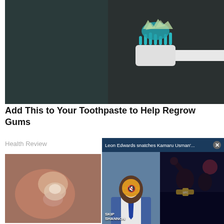[Figure (photo): Close-up photo of a toothbrush with blue toothpaste on bristles, on a dark background]
Add This to Your Toothpaste to Help Regrow Gums
Health Review
[Figure (photo): Close-up of fingers holding something with brown/gum texture]
[Figure (screenshot): Video overlay showing two panels: a news anchor smiling (Skip Shannon show) with mute button, and a UFC fighter celebrating with belt raised. Title bar reads: Leon Edwards snatches Kamaru Usman'...]